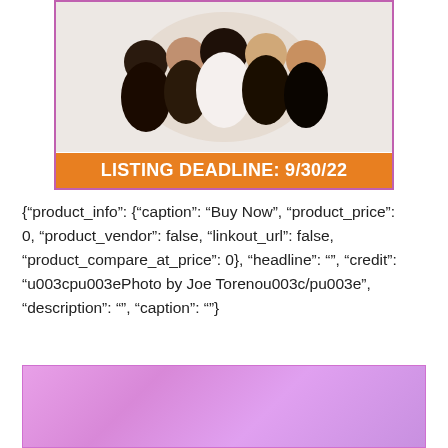[Figure (photo): Group of young people smiling and posing together, wearing black outfits, with an orange banner overlay reading 'LISTING DEADLINE: 9/30/22']
{"product_info": {"caption": "Buy Now", "product_price": 0, "product_vendor": false, "linkout_url": false, "product_compare_at_price": 0}, "headline": "", "credit": "u003cpu003ePhoto by Joe Torenou003c/pu003e", "description": "", "caption": ""}
[Figure (other): Pink/purple gradient rectangle block]